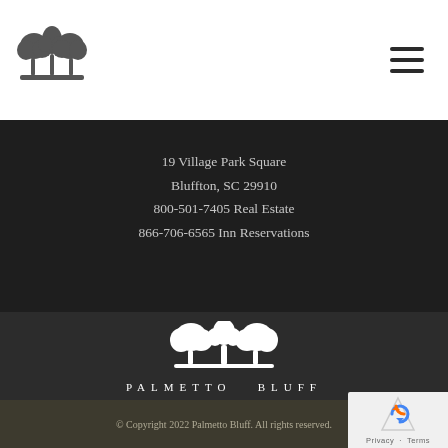[Figure (logo): Palmetto Bluff tree logo (dark silhouette of trees) in header]
[Figure (illustration): Hamburger menu icon (three horizontal lines) in top right]
19 Village Park Square
Bluffton, SC 29910
800-501-7405 Real Estate
866-706-6565 Inn Reservations
[Figure (logo): Palmetto Bluff white tree logo centered with wordmark PALMETTO BLUFF below]
© Copyright 2022 Palmetto Bluff. All rights reserved.